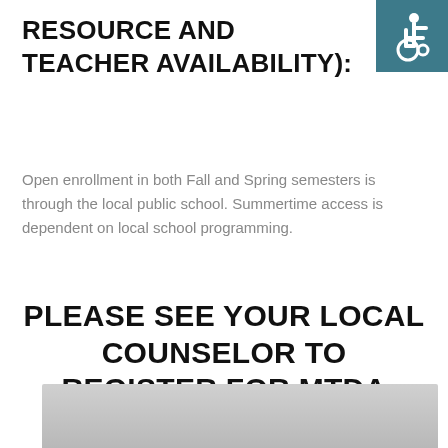RESOURCE AND TEACHER AVAILABILITY):
[Figure (illustration): Accessibility wheelchair symbol icon, white on teal/dark cyan background, top-right corner]
Open enrollment in both Fall and Spring semesters is through the local public school. Summertime access is dependent on local school programming.
PLEASE SEE YOUR LOCAL COUNSELOR TO REGISTER FOR MTDA COURSES
[Figure (photo): Partial photo visible at bottom of page, showing a gray/metallic surface]